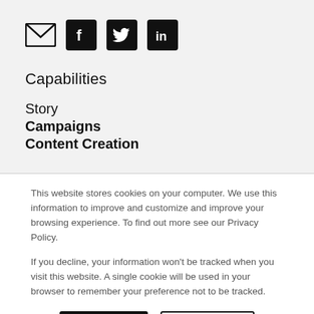[Figure (illustration): Social media icons: envelope (email), Facebook (f), Twitter (bird), LinkedIn (in) — arranged horizontally]
Capabilities
Story
Campaigns
Content Creation
This website stores cookies on your computer. We use this information to improve and customize and improve your browsing experience. To find out more see our Privacy Policy.
If you decline, your information won't be tracked when you visit this website. A single cookie will be used in your browser to remember your preference not to be tracked.
[Figure (other): Two buttons: Accept (black filled) and Decline (white with black border)]